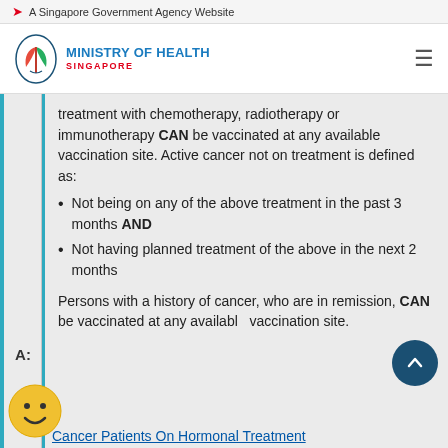A Singapore Government Agency Website
[Figure (logo): Ministry of Health Singapore logo with text MINISTRY OF HEALTH SINGAPORE]
treatment with chemotherapy, radiotherapy or immunotherapy CAN be vaccinated at any available vaccination site. Active cancer not on treatment is defined as:
Not being on any of the above treatment in the past 3 months AND
Not having planned treatment of the above in the next 2 months
Persons with a history of cancer, who are in remission, CAN be vaccinated at any available vaccination site.
Cancer Patients On Hormonal Treatment